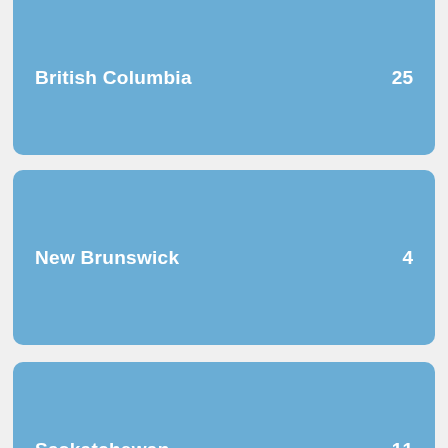British Columbia  25
New Brunswick  4
Saskatchewan  11